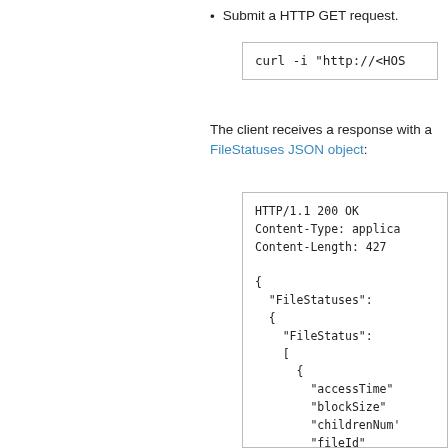Submit a HTTP GET request.
[Figure (screenshot): Code box showing: curl -i "http://<HOS]
The client receives a response with a FileStatuses JSON object:
[Figure (screenshot): HTTP response code block showing: HTTP/1.1 200 OK, Content-Type: applica, Content-Length: 427, then JSON with FileStatuses: { FileStatus: [ { "accessTime" "blockSize" "childrenNum" "fileId" "group" "length" "modification" "owner" "pathSuffix" "permission" "replication"]